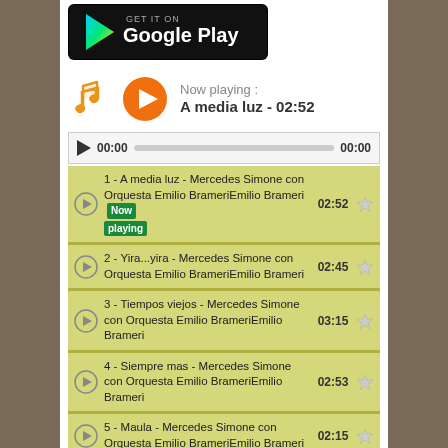[Figure (logo): Google Play store badge]
Now playing : A media luz - 02:52
[Figure (screenshot): Music player progress bar showing 00:00 to 00:00]
1 - A media luz - Mercedes Simone con Orquesta Emilio BrameriEmilio Brameri  Now playing  02:52
2 - Yira...yira - Mercedes Simone con Orquesta Emilio BrameriEmilio Brameri  02:45
3 - Tiempos viejos - Mercedes Simone con Orquesta Emilio BrameriEmilio Brameri  03:15
4 - Siempre mas - Mercedes Simone con Orquesta Emilio BrameriEmilio Brameri  02:53
5 - Maula - Mercedes Simone con Orquesta Emilio BrameriEmilio Brameri  02:15
6 - Mi vieja viola - Mercedes Simone con Orquesta Emilio BrameriEmilio Brameri  02:53
7 - Una señora milonga - Mercedes Simone  02:26